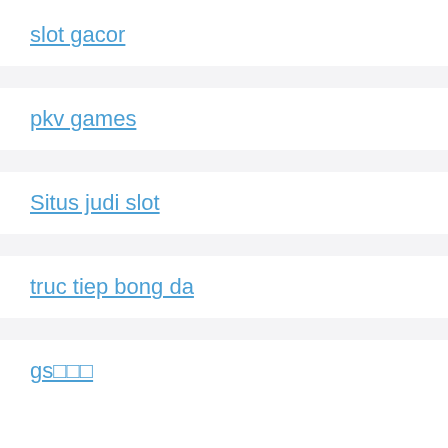slot gacor
pkv games
Situs judi slot
truc tiep bong da
gs□□□